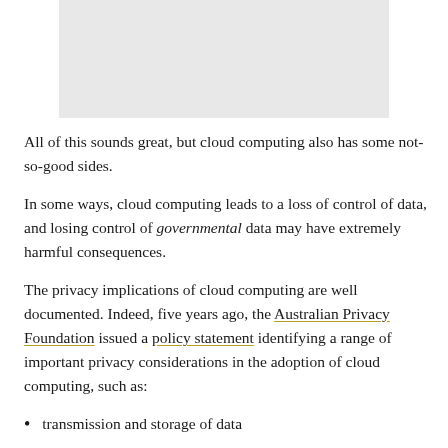[Figure (other): Gray rectangular image placeholder at top of page]
All of this sounds great, but cloud computing also has some not-so-good sides.
In some ways, cloud computing leads to a loss of control of data, and losing control of governmental data may have extremely harmful consequences.
The privacy implications of cloud computing are well documented. Indeed, five years ago, the Australian Privacy Foundation issued a policy statement identifying a range of important privacy considerations in the adoption of cloud computing, such as:
transmission and storage of data
reliable access and network connections